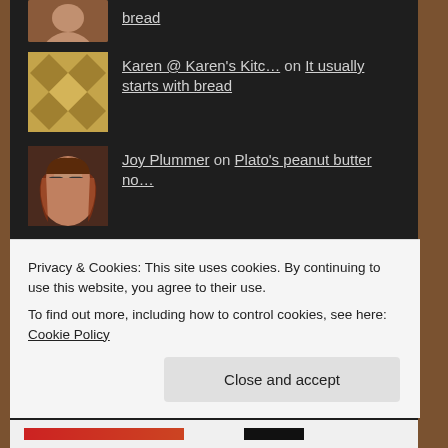bread
Karen @ Karen's Kitc… on It usually starts with bread
Joy Plummer on Plato's peanut butter no…
Archives
September 2015
June 2015
April 2014
March 2014
Privacy & Cookies: This site uses cookies. By continuing to use this website, you agree to their use.
To find out more, including how to control cookies, see here: Cookie Policy
Close and accept